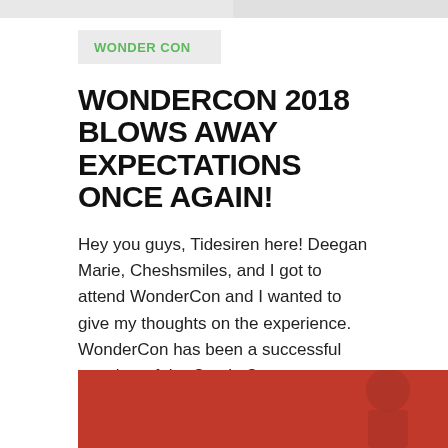WONDER CON
WONDERCON 2018 BLOWS AWAY EXPECTATIONS ONCE AGAIN!
Hey you guys, Tidesiren here! Deegan Marie, Cheshsmiles, and I got to attend WonderCon and I wanted to give my thoughts on the experience. WonderCon has been a successful member of the Comic Con event family for years and it only ...
April 8, 2018
[Figure (photo): Bottom portion of a photo with red background, partially visible at bottom of page]